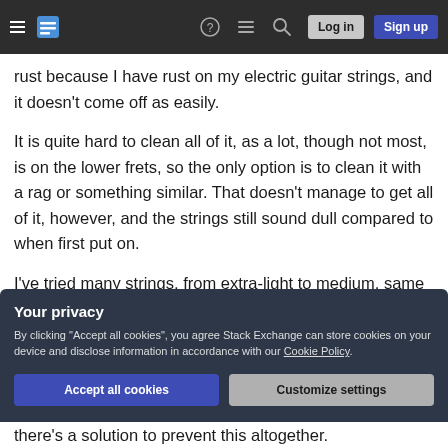Stack Exchange navigation bar with hamburger menu, logo, help, chat, search icons, Log in and Sign up buttons
rust because I have rust on my electric guitar strings, and it doesn't come off as easily.
It is quite hard to clean all of it, as a lot, though not most, is on the lower frets, so the only option is to clean it with a rag or something similar. That doesn't manage to get all of it, however, and the strings still sound dull compared to when first put on.
I've tried many strings, from extra-light to medium, same result. Perhaps it's the texture? The only ones I haven't tried are Elixir's and similar coated strings.
Your privacy
By clicking "Accept all cookies", you agree Stack Exchange can store cookies on your device and disclose information in accordance with our Cookie Policy.
Accept all cookies
Customize settings
there's a solution to prevent this altogether.